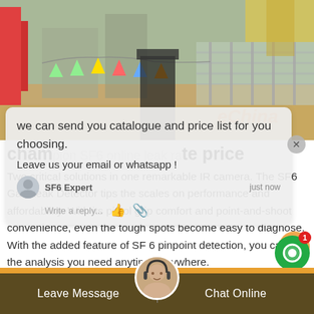[Figure (photo): Outdoor construction/event site with colorful bunting flags, metal railings, sandy ground, and partially visible text 'eChina' in orange.]
we can send you catalogue and price list for you choosing.
Leave us your email or whatsapp !
SF6 Expert    just now
Write a reply...
champion SF6 online leak rate price
Two critical solutions in one remarkable IR camera. The SF6 Gas Leak Detector tips the scales on performance and affordability. With its pistol grip comfort and point-and-shoot convenience, even the tough spots become easy to diagnose. With the added feature of SF 6 pinpoint detection, you can get the analysis you need anytime, anywhere.
Leave Message    Chat Online